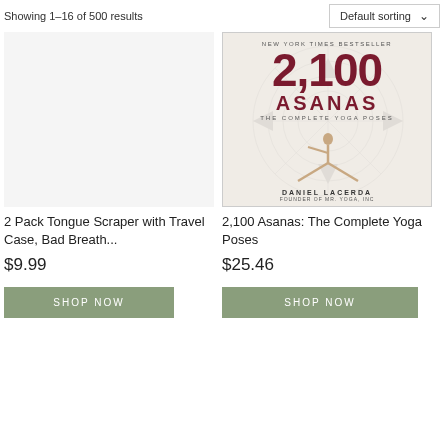Showing 1–16 of 500 results
Default sorting
[Figure (photo): Book cover: 2,100 Asanas: The Complete Yoga Poses by Daniel Lacerda, New York Times Bestseller, showing a woman in a yoga triangle pose on a mandala background]
2 Pack Tongue Scraper with Travel Case, Bad Breath...
$9.99
SHOP NOW
2,100 Asanas: The Complete Yoga Poses
$25.46
SHOP NOW